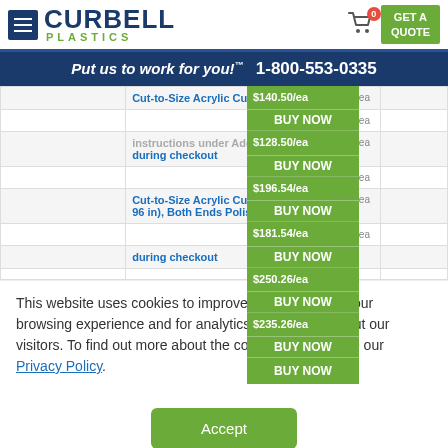Curbell Plastics — GET A QUOTE | 1-800-553-0335 | Put us to work for you!
|  | Product | Price | Action |
| --- | --- | --- | --- |
|  | Cut-to-Size Acrylic Cu...ar, (0.500 | $140.50/ea | BUY NOW |
|  |  | $128.50/ea | BUY NOW |
|  | instructions under Add...ation during checkout | $196.54/ea | BUY NOW |
|  |  | $181.54/ea | BUY NOW |
|  | Cut-to-Size Acrylic Cu...ar, (1 in x 96 in), Both Ends Polis...utting | $250.26/ea | BUY NOW |
|  |  | $235.26/ea | BUY NOW |
|  | during checkout |  | BUY NOW |
|  |  |  |  |
This website uses cookies to improve and customize your browsing experience and for analytics and metrics about our visitors. To find out more about the cookies we use, see our Privacy Policy.
Accept